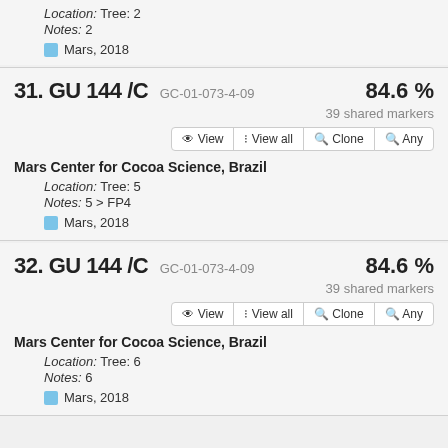Location: Tree: 2
Notes: 2
Mars, 2018
31. GU 144 /C GC-01-073-4-09  84.6 %
39 shared markers
View  View all  Clone  Any
Mars Center for Cocoa Science, Brazil
Location: Tree: 5
Notes: 5 > FP4
Mars, 2018
32. GU 144 /C GC-01-073-4-09  84.6 %
39 shared markers
View  View all  Clone  Any
Mars Center for Cocoa Science, Brazil
Location: Tree: 6
Notes: 6
Mars, 2018